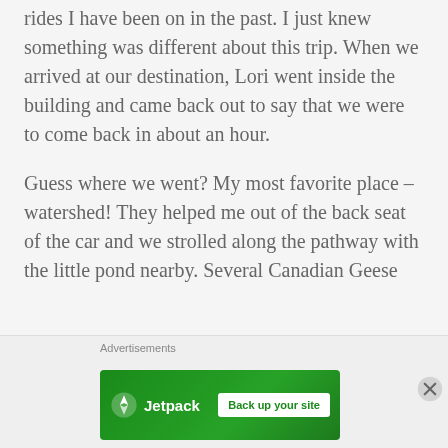rides I have been on in the past. I just knew something was different about this trip. When we arrived at our destination, Lori went inside the building and came back out to say that we were to come back in about an hour.

Guess where we went? My most favorite place – watershed! They helped me out of the back seat of the car and we strolled along the pathway with the little pond nearby. Several Canadian Geese
[Figure (other): Jetpack advertisement banner with green background, Jetpack logo on left and 'Back up your site' button on right]